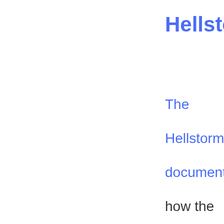Hellsto
The Hellstorm documentary how the German people were persecuted and killed near the end and after the second